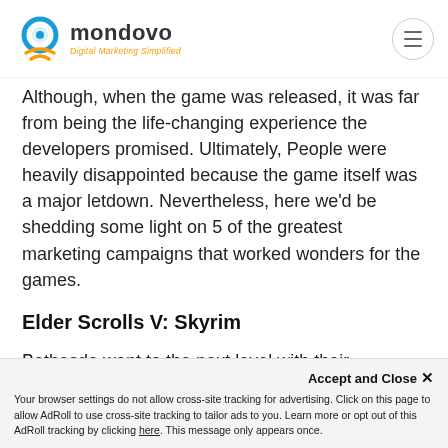mondovo — Digital Marketing Simplified
Although, when the game was released, it was far from being the life-changing experience the developers promised. Ultimately, People were heavily disappointed because the game itself was a major letdown. Nevertheless, here we'd be shedding some light on 5 of the greatest marketing campaigns that worked wonders for the games.
Elder Scrolls V: Skyrim
Bethesda went to the next level with their marketing with an ultra-unique stunt that would be unimaginable if they hadn't done it. The publisher promised free Bethesda games for life to famous game Dovahkin.
Accept and Close ✕
Your browser settings do not allow cross-site tracking for advertising. Click on this page to allow AdRoll to use cross-site tracking to tailor ads to you. Learn more or opt out of this AdRoll tracking by clicking here. This message only appears once.